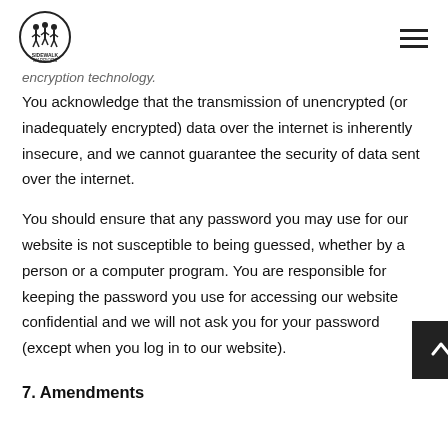Sidewalk Warriors logo and navigation
encryption technology.
You acknowledge that the transmission of unencrypted (or inadequately encrypted) data over the internet is inherently insecure, and we cannot guarantee the security of data sent over the internet.
You should ensure that any password you may use for our website is not susceptible to being guessed, whether by a person or a computer program. You are responsible for keeping the password you use for accessing our website confidential and we will not ask you for your password (except when you log in to our website).
7. Amendments